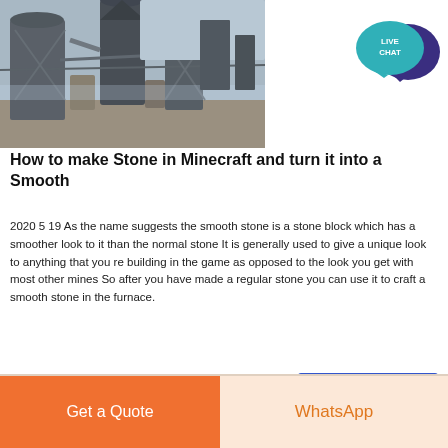[Figure (photo): Industrial factory or plant interior with large cylindrical silos, pipes, and machinery, photographed from below looking up]
[Figure (infographic): Live Chat speech bubble icon — teal bubble with LIVE CHAT text and a dark blue chat bubble behind it]
How to make Stone in Minecraft and turn it into a Smooth
2020 5 19 As the name suggests the smooth stone is a stone block which has a smoother look to it than the normal stone It is generally used to give a unique look to anything that you re building in the game as opposed to the look you get with most other mines So after you have made a regular stone you can use it to craft a smooth stone in the furnace.
Chat Online
Get a Quote
WhatsApp